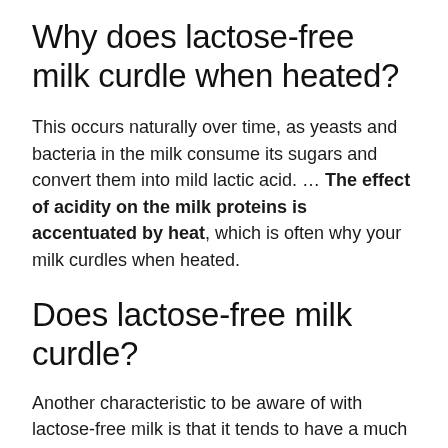Why does lactose-free milk curdle when heated?
This occurs naturally over time, as yeasts and bacteria in the milk consume its sugars and convert them into mild lactic acid. … The effect of acidity on the milk proteins is accentuated by heat, which is often why your milk curdles when heated.
Does lactose-free milk curdle?
Another characteristic to be aware of with lactose-free milk is that it tends to have a much longer shelf life than regular milk.